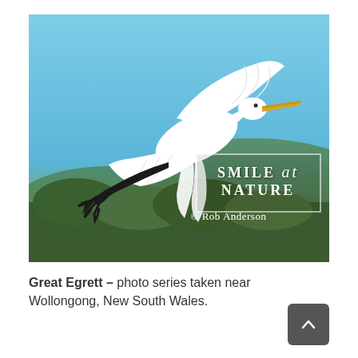[Figure (photo): A Great Egrett (large white bird) in flight against a blue sky with a forested hill in the background. The bird has white plumage, a yellow beak, and dark feet. A watermark box reads 'SMILE at NATURE' with '© Rob Anderson' below it.]
Great Egrett – photo series taken near Wollongong, New South Wales.